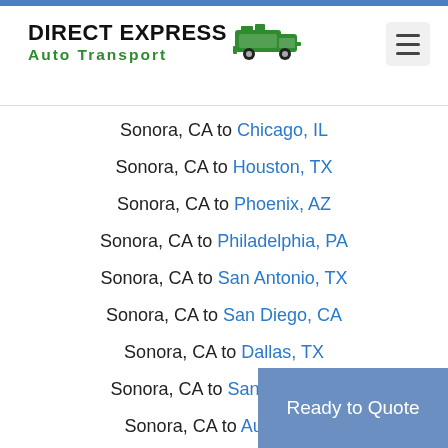DIRECT EXPRESS Auto Transport
Sonora, CA to Chicago, IL
Sonora, CA to Houston, TX
Sonora, CA to Phoenix, AZ
Sonora, CA to Philadelphia, PA
Sonora, CA to San Antonio, TX
Sonora, CA to San Diego, CA
Sonora, CA to Dallas, TX
Sonora, CA to San Jose, CA
Sonora, CA to Austin, TX
Ready to Quote